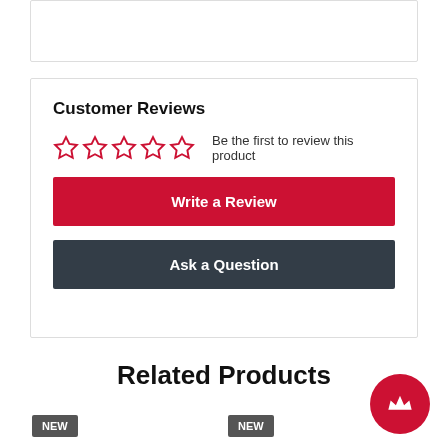Customer Reviews
Be the first to review this product
Write a Review
Ask a Question
Related Products
NEW
NEW